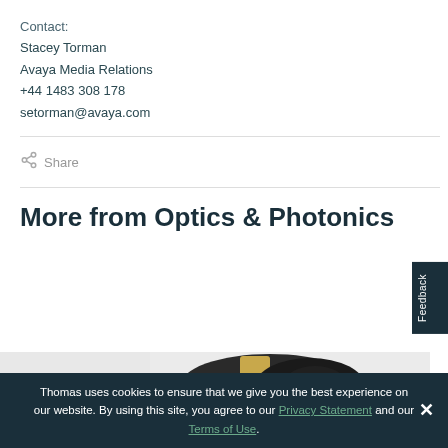Contact:
Stacey Torman
Avaya Media Relations
+44 1483 308 178
setorman@avaya.com
Share
More from Optics & Photonics
[Figure (photo): Partial view of an Olympus camera lens with gold trim]
Thomas uses cookies to ensure that we give you the best experience on our website. By using this site, you agree to our Privacy Statement and our Terms of Use.